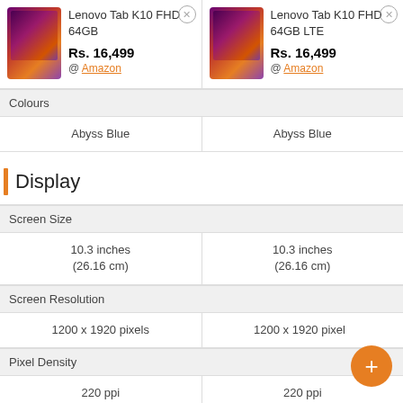| Product 1 | Product 2 |
| --- | --- |
| Lenovo Tab K10 FHD 64GB
Rs. 16,499
@ Amazon | Lenovo Tab K10 FHD 64GB LTE
Rs. 16,499
@ Amazon |
Colours
| Abyss Blue | Abyss Blue |
Display
Screen Size
| 10.3 inches
(26.16 cm) | 10.3 inches
(26.16 cm) |
Screen Resolution
| 1200 x 1920 pixels | 1200 x 1920 pixels |
Pixel Density
| 220 ppi | 220 ppi |